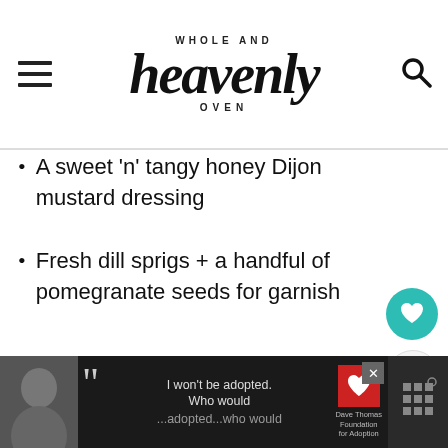WHOLE AND heavenly OVEN
A sweet ‘n’ tangy honey Dijon mustard dressing
Fresh dill sprigs + a handful of pomegranate seeds for garnish
[Figure (photo): Bowl of salad with avocado, shrimp, and greens on a white background]
WHAT'S NEXT → Blackened Salmon Sala...
[Figure (screenshot): Advertisement bar at bottom: Dave Thomas Foundation for Adoption ad with person, quote marks, and Wendy's logo]